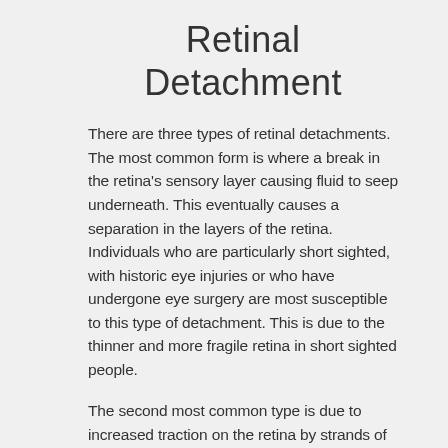Retinal Detachment
There are three types of retinal detachments. The most common form is where a break in the retina's sensory layer causing fluid to seep underneath. This eventually causes a separation in the layers of the retina. Individuals who are particularly short sighted, with historic eye injuries or who have undergone eye surgery are most susceptible to this type of detachment. This is due to the thinner and more fragile retina in short sighted people.
The second most common type is due to increased traction on the retina by strands of scar or vitreous tissue which can ultimately pull the retina loose.
The third most common type occurs...